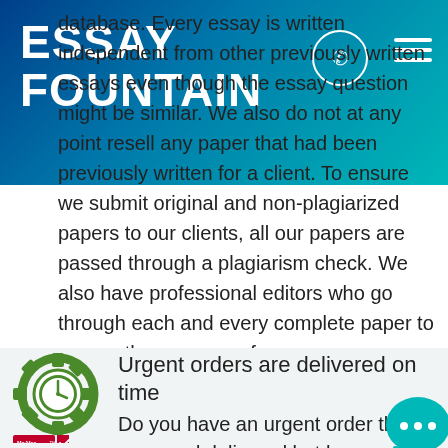ESSAY FOUNTAIN
database. Every essay is written independent from other previously written essays even though the essay question might be similar. We also do not at any point resell any paper that had been previously written for a client. To ensure we submit original and non-plagiarized papers to our clients, all our papers are passed through a plagiarism check. We also have professional editors who go through each and every complete paper to ensure they are error free.
[Figure (illustration): Green gear/clock icon]
Urgent orders are delivered on time
[Figure (logo): McAfee SECURE badge]
Do you have an urgent order that you need delivered but have no idea on how to do it? Are
[Figure (illustration): Teal chat bubble with three dots]